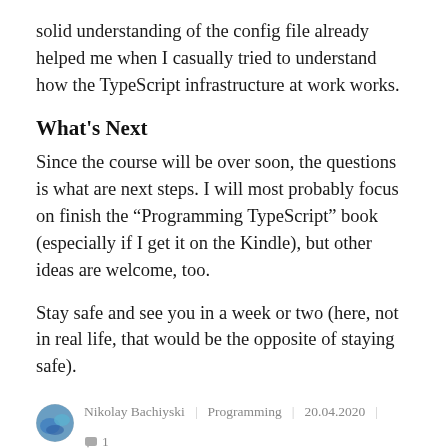solid understanding of the config file already helped me when I casually tried to understand how the TypeScript infrastructure at work works.
What's Next
Since the course will be over soon, the questions is what are next steps. I will most probably focus on finish the “Programming TypeScript” book (especially if I get it on the Kindle), but other ideas are welcome, too.
Stay safe and see you in a week or two (here, not in real life, that would be the opposite of staying safe).
Nikolay Bachiyski | Programming | 20.04.2020 | 1 Comment